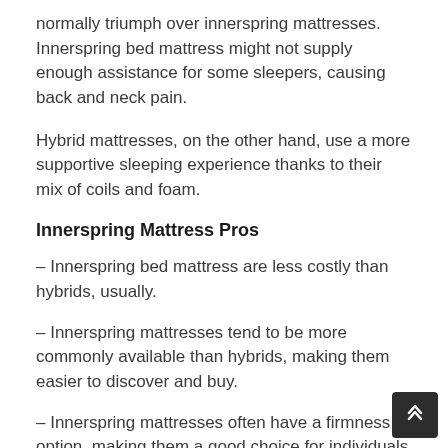normally triumph over innerspring mattresses. Innerspring bed mattress might not supply enough assistance for some sleepers, causing back and neck pain.
Hybrid mattresses, on the other hand, use a more supportive sleeping experience thanks to their mix of coils and foam.
Innerspring Mattress Pros
– Innerspring bed mattress are less costly than hybrids, usually.
– Innerspring mattresses tend to be more commonly available than hybrids, making them easier to discover and buy.
– Innerspring mattresses often have a firmness option, making them a good choice for individuals